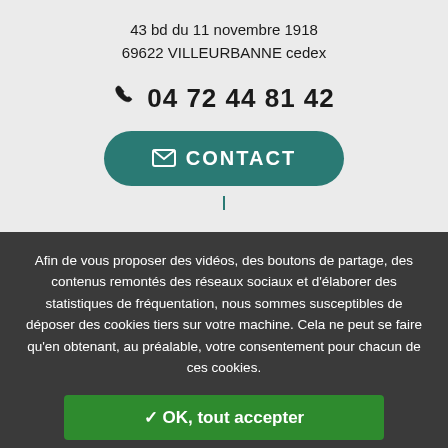43 bd du 11 novembre 1918
69622 VILLEURBANNE cedex
04 72 44 81 42
CONTACT
Afin de vous proposer des vidéos, des boutons de partage, des contenus remontés des réseaux sociaux et d'élaborer des statistiques de fréquentation, nous sommes susceptibles de déposer des cookies tiers sur votre machine. Cela ne peut se faire qu'en obtenant, au préalable, votre consentement pour chacun de ces cookies.
✓ OK, tout accepter
✗ Interdire tous les cookies
Personnaliser